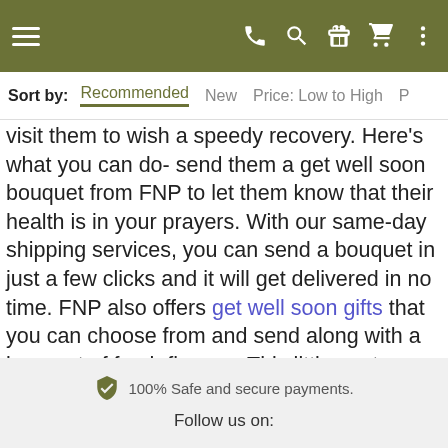Navigation bar with hamburger menu and icons (phone, search, gift, cart, more)
Sort by: Recommended New Price: Low to High P…
visit them to wish a speedy recovery. Here's what you can do- send them a get well soon bouquet from FNP to let them know that their health is in your prayers. With our same-day shipping services, you can send a bouquet in just a few clicks and it will get delivered in no time. FNP also offers get well soon gifts that you can choose from and send along with a bouquet of fresh flowers. This little gesture will speak a thousand words as it will let them know how thoughtful you are of their health. Order now from our online store.
100% Safe and secure payments.
Follow us on: